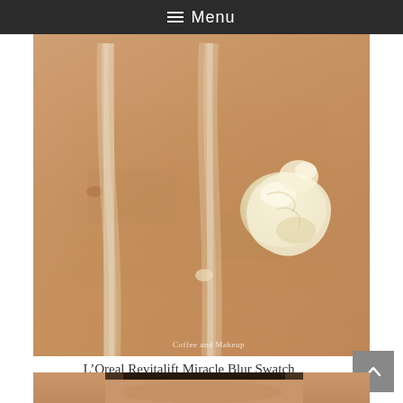☰ Menu
[Figure (photo): Close-up macro photo of skin with L'Oreal Revitalift Miracle Blur product swatch applied — two translucent streaks on skin and a blob of white cream product in the upper right. Watermark reads 'Coffee and Makeup'.]
L’Oreal Revitalift Miracle Blur Swatch
[Figure (photo): Partial view of a person's face (forehead area visible) at the bottom of the page.]